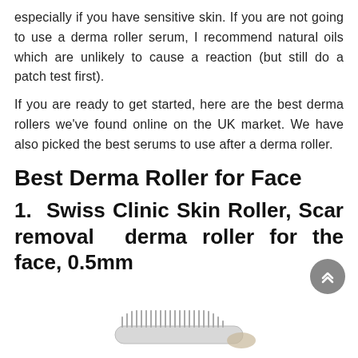especially if you have sensitive skin. If you are not going to use a derma roller serum, I recommend natural oils which are unlikely to cause a reaction (but still do a patch test first).
If you are ready to get started, here are the best derma rollers we've found online on the UK market. We have also picked the best serums to use after a derma roller.
Best Derma Roller for Face
1. Swiss Clinic Skin Roller, Scar removal derma roller for the face, 0.5mm
[Figure (photo): Bottom portion of a derma roller device showing the micro-needle roller head, partially visible at the bottom of the page.]